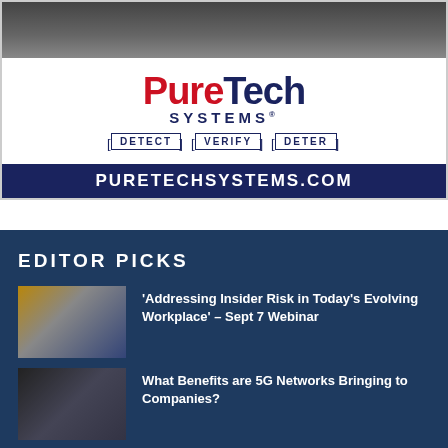[Figure (logo): PureTech Systems advertisement with logo, tagline DETECT VERIFY DETER, and website URL PURETECHSYSTEMS.COM]
EDITOR PICKS
'Addressing Insider Risk in Today's Evolving Workplace' – Sept 7 Webinar
What Benefits are 5G Networks Bringing to Companies?
The United States and China: Is Big Tech